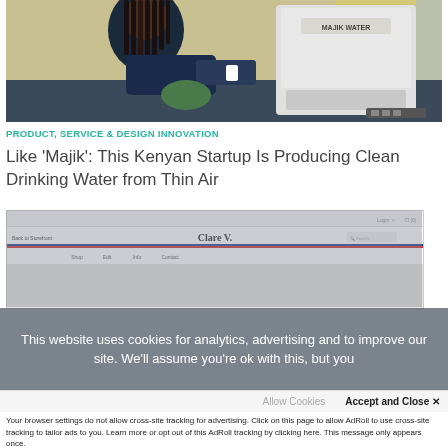[Figure (photo): Person using a Majik Water machine, a white appliance. The person has braided hair and is seated, interacting with the machine in an indoor setting.]
PRODUCT, SERVICE & DESIGN INNOVATION
Like 'Majik': This Kenyan Startup Is Producing Clean Drinking Water from Thin Air
[Figure (screenshot): Screenshot of the Clare V. website showing navigation bar with menu items: Shop, Edit, Info, Contact. There is a search box on the right.]
This website uses cookies for analytics, advertising and to improve our site. We'll assume you're ok with this, but you
Allow Cookies
Accept and Close ✕
Your browser settings do not allow cross-site tracking for advertising. Click on this page to allow AdRoll to use cross-site tracking to tailor ads to you. Learn more or opt out of this AdRoll tracking by clicking here. This message only appears once.